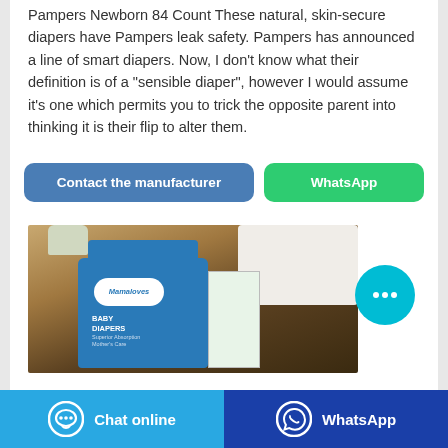Pampers Newborn 84 Count These natural, skin-secure diapers have Pampers leak safety. Pampers has announced a line of smart diapers. Now, I don't know what their definition is of a "sensible diaper", however I would assume it's one which permits you to trick the opposite parent into thinking it is their flip to alter them.
[Figure (other): Two buttons: 'Contact the manufacturer' (blue) and 'WhatsApp' (green)]
[Figure (photo): Photo of a Mamaloves Baby Diapers product box on a wooden surface with white cloth in background]
[Figure (other): Bottom bar with 'Chat online' (light blue) and 'WhatsApp' (dark blue) buttons]